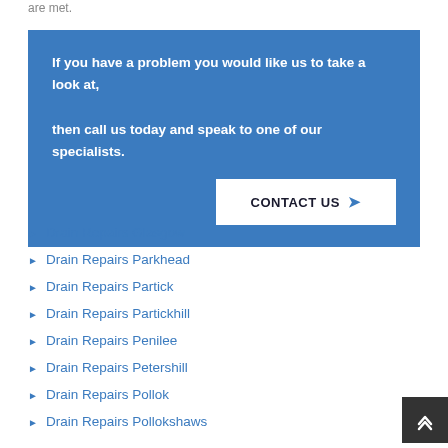are met.
If you have a problem you would like us to take a look at, then call us today and speak to one of our specialists. CONTACT US ▶
Drain Repairs Glasgow
Drain Repairs Parkhead
Drain Repairs Partick
Drain Repairs Partickhill
Drain Repairs Penilee
Drain Repairs Petershill
Drain Repairs Pollok
Drain Repairs Pollokshaws